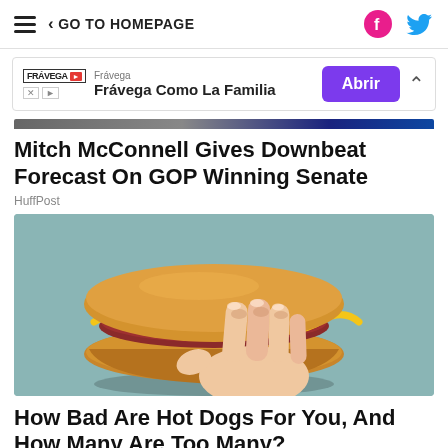GO TO HOMEPAGE
[Figure (screenshot): Advertisement banner for Frávega with logo, slogan 'Frávega Como La Familia', and purple 'Abrir' button]
Mitch McConnell Gives Downbeat Forecast On GOP Winning Senate
HuffPost
[Figure (illustration): Illustration of a hand holding a hot dog with mustard and ketchup on a light teal background]
How Bad Are Hot Dogs For You, And How Many Are Too Many?